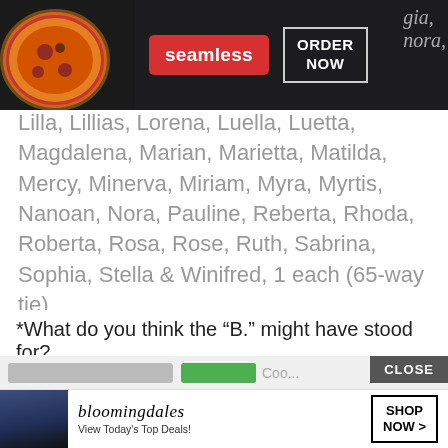[Figure (screenshot): Seamless food delivery advertisement banner with pizza image, red Seamless logo, and ORDER NOW button]
Lilla, Lillias, Lorena, Luella, Luetta, Magdalena, Marian, Marietta, Matilda, Mercy, Minerva, Miriam, Myra, Myrtis, Nanoan, Nora, Pauline, Reberta, Rhoda, Roberta, Rosa, Rose, Ruth, Sabrina, Sophia, Stella & Winifred, 1 each (65-way tie)
*What do you think the “B.” might have stood for?
We use cookies on our website to give you the most relevant experience by remembering your preferences and repeat visits. By clicking “Accept”, you consent to the use of ALL the cookies.
Do not sell my personal information.
[Figure (screenshot): Bloomingdale's advertisement banner with hat model, shop now button, and View Today's Top Deals text]